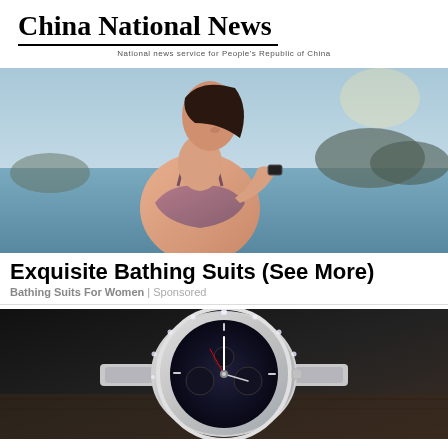China National News
National news service for People's Republic of China
[Figure (photo): Woman in pink sports bra / bathing suit top standing near water, looking at her wrist (smart watch), outdoor setting with rocks and water in background]
Exquisite Bathing Suits (See More)
Bathing Suits For Women | Sponsored
[Figure (photo): Close-up of a luxury silver wristwatch with diamond-studded bezel on a dark background with leather]